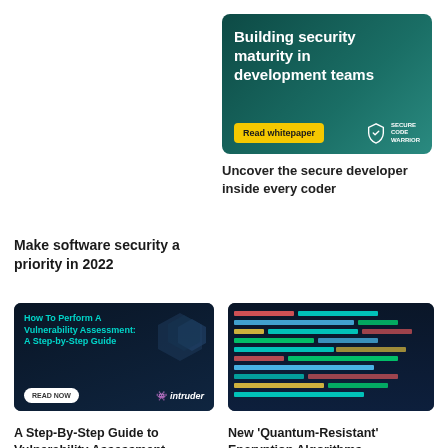[Figure (illustration): Advertisement banner for Secure Code Warrior: dark teal background with white bold text 'Building security maturity in development teams', yellow 'Read whitepaper' button, and Secure Code Warrior shield logo]
Uncover the secure developer inside every coder
Make software security a priority in 2022
[Figure (illustration): Advertisement banner for Intruder: dark navy background with teal text 'How To Perform A Vulnerability Assessment: A Step-by-Step Guide', 'READ NOW' button, and intruder brand logo with pixel art icon]
A Step-By-Step Guide to Vulnerability Assessment
[Figure (screenshot): Screenshot of code editor showing colorful syntax-highlighted code on dark background]
New 'Quantum-Resistant' Encryption Algorithms